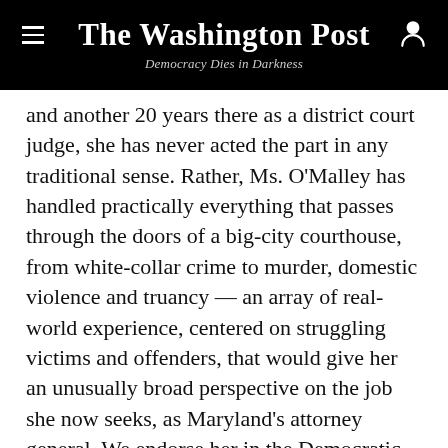The Washington Post
Democracy Dies in Darkness
and another 20 years there as a district court judge, she has never acted the part in any traditional sense. Rather, Ms. O’Malley has handled practically everything that passes through the doors of a big-city courthouse, from white-collar crime to murder, domestic violence and truancy — an array of real-world experience, centered on struggling victims and offenders, that would give her an unusually broad perspective on the job she now seeks, as Maryland’s attorney general. We endorse her in the Democratic primary on July 19.
Across the United States, just a handful of state attorneys general are women, and fewer still are women who have served on the bench, let alone for the